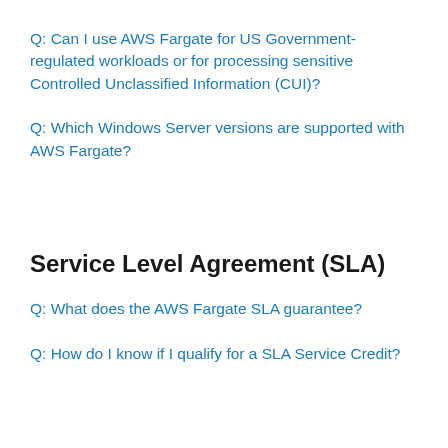Q: Can I use AWS Fargate for US Government-regulated workloads or for processing sensitive Controlled Unclassified Information (CUI)?
Q: Which Windows Server versions are supported with AWS Fargate?
Service Level Agreement (SLA)
Q: What does the AWS Fargate SLA guarantee?
Q: How do I know if I qualify for a SLA Service Credit?